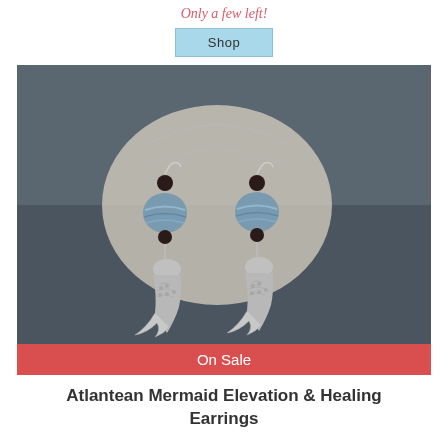Only a few left!
Shop
[Figure (photo): Photo of two mermaid charm earrings with blue-striped beads and dark round beads, displayed on a white seashell against a dark wooden surface. Silver mermaid tail charms hang below the beads.]
On Sale
Atlantean Mermaid Elevation & Healing Earrings